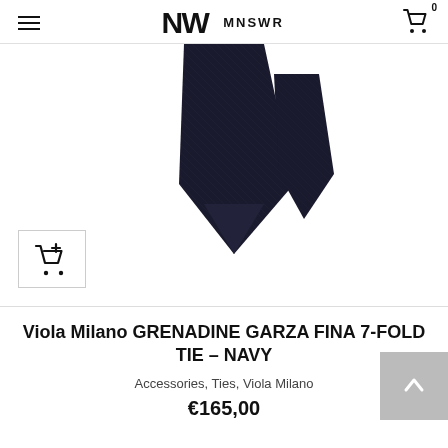MNSWR — navigation header with logo and cart icon
[Figure (photo): Dark navy/black Viola Milano Grenadine Garza Fina 7-fold tie laid flat, showing the front blade and back blade pointing downward on a white background. An add-to-cart icon is visible in the bottom left corner.]
Viola Milano GRENADINE GARZA FINA 7-FOLD TIE – NAVY
Accessories, Ties, Viola Milano
€165,00